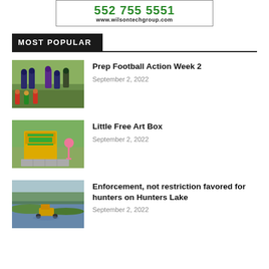[Figure (other): Advertisement banner for Wilson Tech Group showing phone number and website www.wilsontechgroup.com]
MOST POPULAR
[Figure (photo): Youth football players in action on a field]
Prep Football Action Week 2
September 2, 2022
[Figure (photo): A yellow Little Free Art Box sign with a pink flamingo in the background]
Little Free Art Box
September 2, 2022
[Figure (photo): A tractor or machine working in a flooded lake with green vegetation]
Enforcement, not restriction favored for hunters on Hunters Lake
September 2, 2022